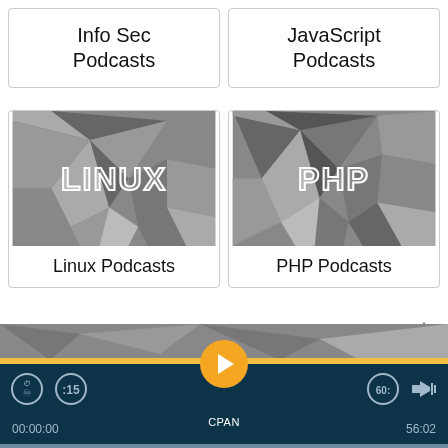Info Sec Podcasts
JavaScript Podcasts
[Figure (illustration): Polygon low-poly grey background with text LINUX]
Linux Podcasts
[Figure (illustration): Polygon low-poly grey background with text PHP]
PHP Podcasts
[Figure (screenshot): Media player bar with play button, CPAN label, time 00:00:00 and 56:02, progress bar, skip icons, volume icon, up arrow]